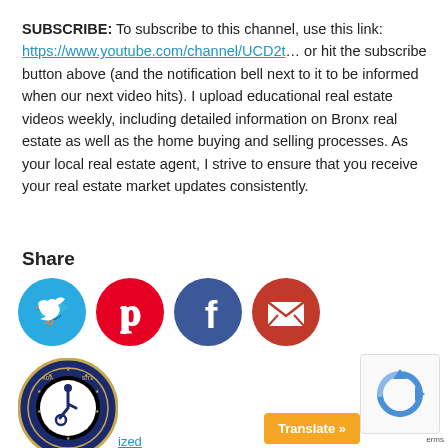SUBSCRIBE: To subscribe to this channel, use this link: https://www.youtube.com/channel/UCD2t… or hit the subscribe button above (and the notification bell next to it to be informed when our next video hits). I upload educational real estate videos weekly, including detailed information on Bronx real estate as well as the home buying and selling processes. As your local real estate agent, I strive to ensure that you receive your real estate market updates consistently.
Share
[Figure (illustration): Social media share icons: Twitter (teal circle with bird), Pinterest (red circle with P), Facebook (dark blue circle with f), Email (red circle with envelope)]
[Figure (logo): ADA Site Compliance badge — circular badge with accessibility icon and text 'ADA SITE COMPLIANCE']
ized
[Figure (logo): reCAPTCHA logo — blue circular arrows]
Translate »